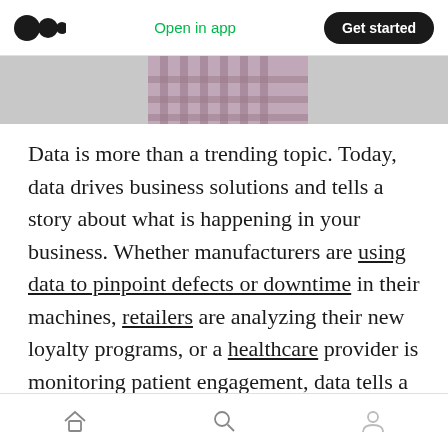Open in app | Get started
[Figure (photo): Partial view of a person wearing a plaid shirt, cropped image strip at top of article]
Data is more than a trending topic. Today, data drives business solutions and tells a story about what is happening in your business. Whether manufacturers are using data to pinpoint defects or downtime in their machines, retailers are analyzing their new loyalty programs, or a healthcare provider is monitoring patient engagement, data tells a story. When data is presented in a digestible format filled with fact-based information, stakeholders can “see” what
Home | Search | Profile